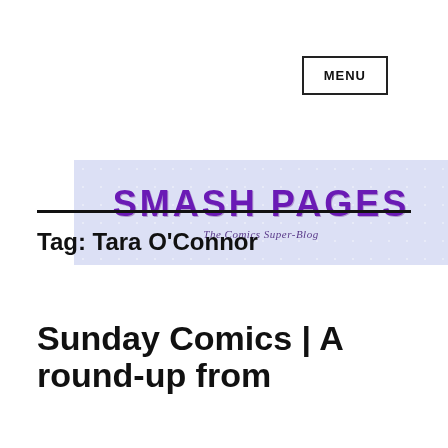MENU
[Figure (logo): Smash Pages logo banner with star-pattern lavender background. Large purple bold text 'SMASH PAGES' with subtitle 'The Comics Super-Blog' in italic serif below.]
Tag: Tara O'Connor
Sunday Comics | A round-up from